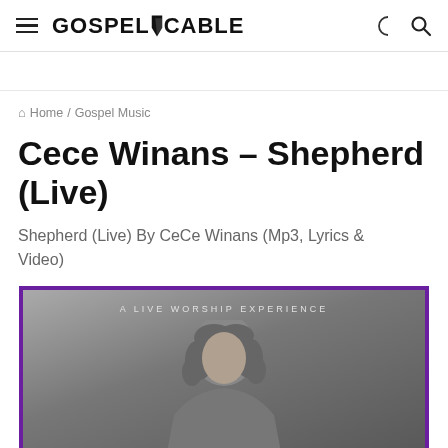GOSPEL CABLE — Home / Gospel Music
Home / Gospel Music
Cece Winans – Shepherd (Live)
Shepherd (Live) By CeCe Winans (Mp3, Lyrics & Video)
[Figure (photo): Album cover with purple border — black and white photo of CeCe Winans with text 'A LIVE WORSHIP EXPERIENCE' at the top]